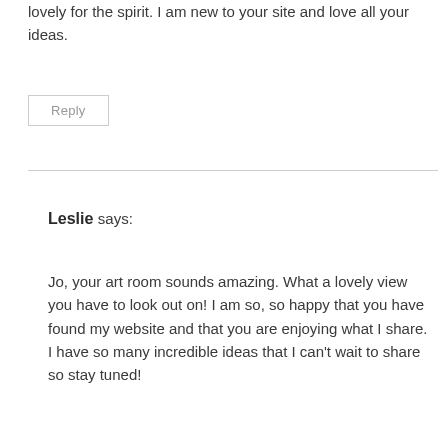lovely for the spirit. I am new to your site and love all your ideas.
Reply
Leslie says:
Jo, your art room sounds amazing. What a lovely view you have to look out on! I am so, so happy that you have found my website and that you are enjoying what I share. I have so many incredible ideas that I can't wait to share so stay tuned!